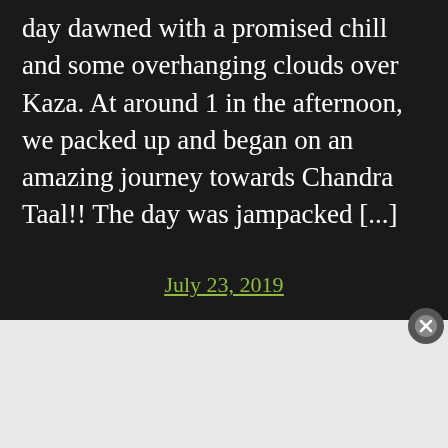day dawned with a promised chill and some overhanging clouds over Kaza. At around 1 in the afternoon, we packed up and began on an amazing journey towards Chandra Taal!! The day was jampacked [...]
July 23, 2019
[Figure (other): DuckDuckGo advertisement banner with orange background showing 'Search, browse, and email with more privacy. All in One Free App' text and a phone mockup with DuckDuckGo logo]